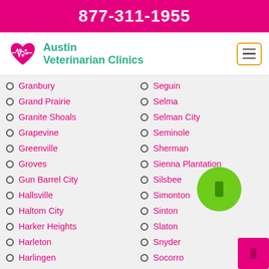877-311-1955
[Figure (logo): Austin Veterinarian Clinics logo with paw/heart icon]
Granbury
Grand Prairie
Granite Shoals
Grapevine
Greenville
Groves
Gun Barrel City
Hallsville
Haltom City
Harker Heights
Harleton
Harlingen
Seguin
Selma
Selman City
Seminole
Sherman
Sienna Plantation
Silsbee
Simonton
Sinton
Slaton
Snyder
Socorro